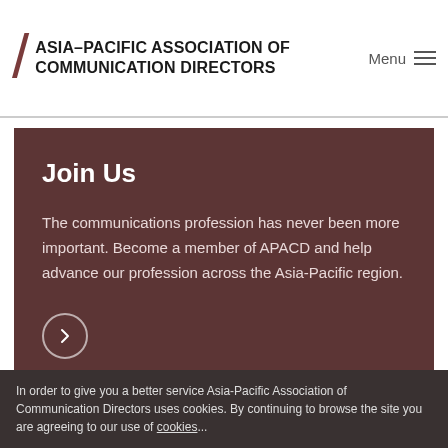/ ASIA–PACIFIC ASSOCIATION OF COMMUNICATION DIRECTORS  Menu ☰
Join Us
The communications profession has never been more important. Become a member of APACD and help advance our profession across the Asia-Pacific region.
In order to give you a better service Asia-Pacific Association of Communication Directors uses cookies. By continuing to browse the site you are agreeing to our use of cookies...